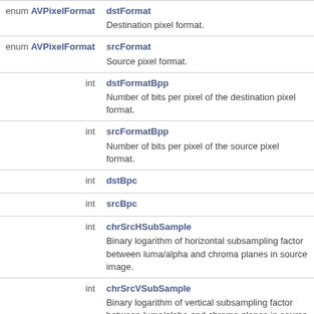| Type | Name/Description |
| --- | --- |
| enum AVPixelFormat | dstFormat
Destination pixel format. |
| enum AVPixelFormat | srcFormat
Source pixel format. |
| int | dstFormatBpp
Number of bits per pixel of the destination pixel format. |
| int | srcFormatBpp
Number of bits per pixel of the source pixel format. |
| int | dstBpc |
| int | srcBpc |
| int | chrSrcHSubSample
Binary logarithm of horizontal subsampling factor between luma/alpha and chroma planes in source image. |
| int | chrSrcVSubSample
Binary logarithm of vertical subsampling factor between luma/alpha and chroma planes in source image. |
| int | chrDstHSubSample |